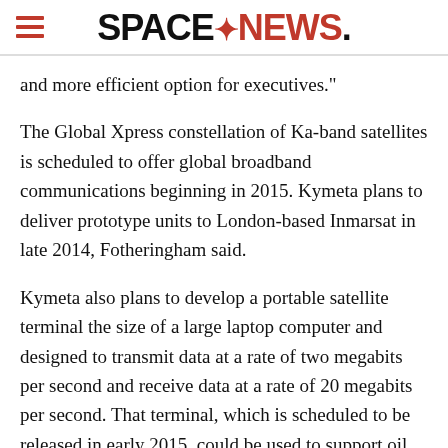SPACENEWS
and more efficient option for executives."
The Global Xpress constellation of Ka-band satellites is scheduled to offer global broadband communications beginning in 2015. Kymeta plans to deliver prototype units to London-based Inmarsat in late 2014, Fotheringham said.
Kymeta also plans to develop a portable satellite terminal the size of a large laptop computer and designed to transmit data at a rate of two megabits per second and receive data at a rate of 20 megabits per second. That terminal, which is scheduled to be released in early 2015, could be used to support oil and gas exploration, news organizations, military exercises and disaster relief, Fotheringham said.